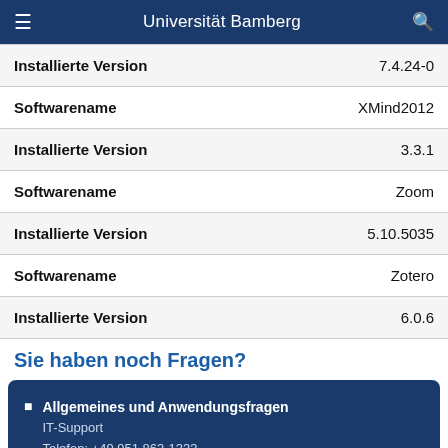Universität Bamberg
| Installierte Version | 7.4.24-0 |
| Softwarename | XMind2012 |
| Installierte Version | 3.3.1 |
| Softwarename | Zoom |
| Installierte Version | 5.10.5035 |
| Softwarename | Zotero |
| Installierte Version | 6.0.6 |
Sie haben noch Fragen?
Allgemeines und Anwendungsfragen
IT-Support
Telefon: +49 951 863-1333
E-Mail: ...